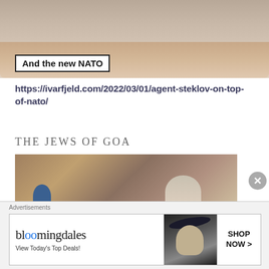[Figure (photo): Close-up photo of a man's face/chin with a white label overlay reading 'And the new NATO']
https://ivarfjeld.com/2022/03/01/agent-steklov-on-top-of-nato/
THE JEWS OF GOA
[Figure (photo): Partial photo showing people near a stone wall, partially cut off at the bottom]
[Figure (other): Bloomingdale's advertisement: 'View Today's Top Deals!' with SHOP NOW button and image of woman in wide-brim hat]